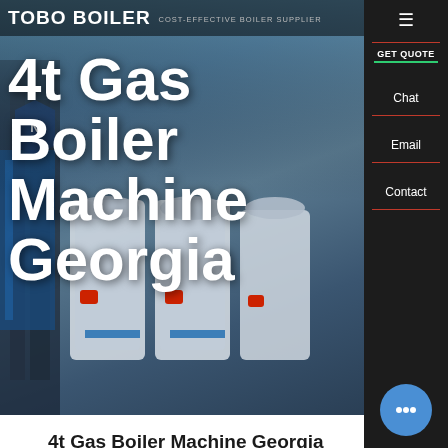[Figure (photo): Hero banner showing industrial boiler equipment with blue and grey tones, industrial facility background]
TOBO BOILER — COST-EFFECTIVE BOILER SUPPLIER
4t Gas Boiler Machine Georgia
4t Gas Boiler Machine Georgia
HOT NEWS
Boiler 4t Dealer Industrial Georgia